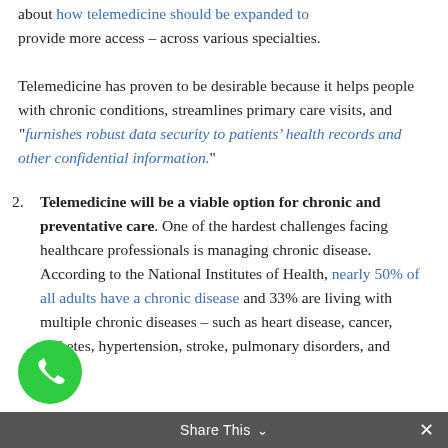about how telemedicine should be expanded to provide more access – across various specialties.
Telemedicine has proven to be desirable because it helps people with chronic conditions, streamlines primary care visits, and “furnishes robust data security to patients’ health records and other confidential information.”
2. Telemedicine will be a viable option for chronic and preventative care. One of the hardest challenges facing healthcare professionals is managing chronic disease. According to the National Institutes of Health, nearly 50% of all adults have a chronic disease and 33% are living with multiple chronic diseases – such as heart disease, cancer, diabetes, hypertension, stroke, pulmonary disorders, and
Share This